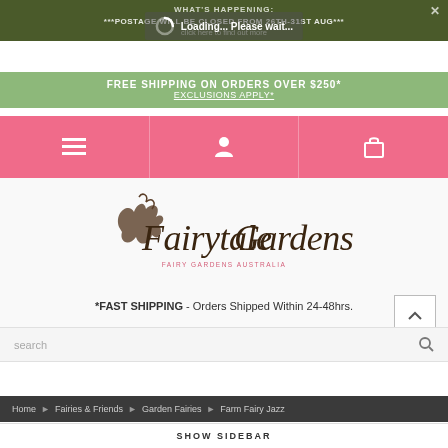WHAT'S HAPPENING: ***POSTAGE WILL BE CLOSED FROM 26TH-31ST AUG***
Loading... Please wait...
FREE SHIPPING ON ORDERS OVER $250* EXCLUSIONS APPLY*
[Figure (logo): Fairytale Gardens fairy gardens Australia logo with decorative script text]
*FAST SHIPPING - Orders Shipped Within 24-48hrs.
search
Home » Fairies & Friends » Garden Fairies » Farm Fairy Jazz
SHOW SIDEBAR